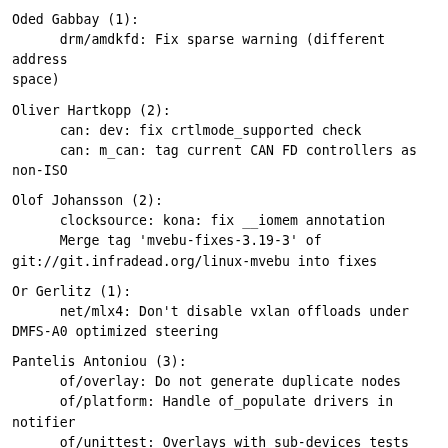Oded Gabbay (1):
      drm/amdkfd: Fix sparse warning (different address space)
Oliver Hartkopp (2):
      can: dev: fix crtlmode_supported check
      can: m_can: tag current CAN FD controllers as non-ISO
Olof Johansson (2):
      clocksource: kona: fix __iomem annotation
      Merge tag 'mvebu-fixes-3.19-3' of git://git.infradead.org/linux-mvebu into fixes
Or Gerlitz (1):
      net/mlx4: Don't disable vxlan offloads under DMFS-A0 optimized steering
Pantelis Antoniou (3):
      of/overlay: Do not generate duplicate nodes
      of/platform: Handle of_populate drivers in notifier
      of/unittest: Overlays with sub-devices tests
Qu Wenruo (2):
      btrfs: Fix the bug that fs_info->pending_changes is never cleared.
      btrfs: Don't call btrfs_start_transaction() on frozen fs to avoid deadlock